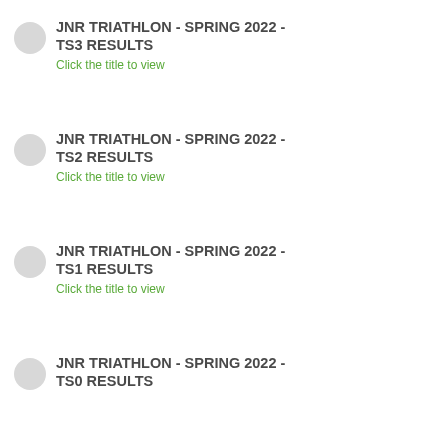JNR TRIATHLON - SPRING 2022 - TS3 RESULTS
Click the title to view
JNR TRIATHLON - SPRING 2022 - TS2 RESULTS
Click the title to view
JNR TRIATHLON - SPRING 2022 - TS1 RESULTS
Click the title to view
JNR TRIATHLON - SPRING 2022 - TS0 RESULTS